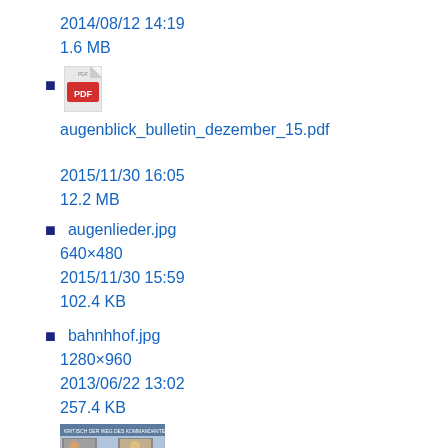2014/08/12 14:19
1.6 MB
[Figure (other): PDF file icon]
augenblick_bulletin_dezember_15.pdf
2015/11/30 16:05
12.2 MB
augenlieder.jpg
640×480
2015/11/30 15:59
102.4 KB
bahnhhof.jpg
1280×960
2013/06/22 13:02
257.4 KB
[Figure (screenshot): Thumbnail image of bahnhhof.jpg showing people and a question mark graphic]